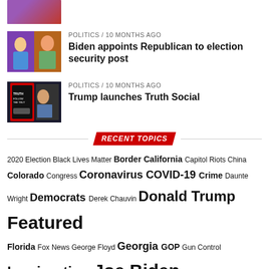[Figure (photo): Partial image of a person at top of page, cropped]
[Figure (photo): Biden pointing and a woman with red hair, two-panel thumbnail]
POLITICS / 10 months ago
Biden appoints Republican to election security post
[Figure (photo): Trump and Truth Social app on phone screen]
POLITICS / 10 months ago
Trump launches Truth Social
RECENT TOPICS
2020 Election Black Lives Matter Border California Capitol Riots China Colorado Congress Coronavirus COVID-19 Crime Daunte Wright Democrats Derek Chauvin Donald Trump Featured Florida Fox News George Floyd Georgia GOP Gun Control Immigration Joe Biden Matt gaetz Migrants Minneapolis Mitch McConnell News New York Police Politics Qanon Racism Republican Republicans Royal Family Shooting Stimulus Package Ted cruz Texas Twitter U.S.-Mexico border Vaccine White House